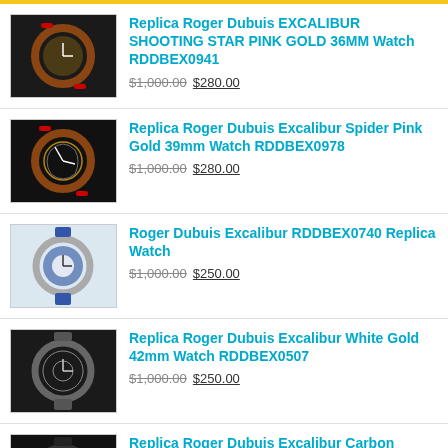Replica Roger Dubuis EXCALIBUR SHOOTING STAR PINK GOLD 36MM Watch RDDBEX0941 | $1,000.00 $280.00
Replica Roger Dubuis Excalibur Spider Pink Gold 39mm Watch RDDBEX0978 | $1,000.00 $280.00
Roger Dubuis Excalibur RDDBEX0740 Replica Watch | $1,000.00 $250.00
Replica Roger Dubuis Excalibur White Gold 42mm Watch RDDBEX0507 | $1,000.00 $250.00
Replica Roger Dubuis Excalibur Carbon 42mm Watch RDDBEX0777